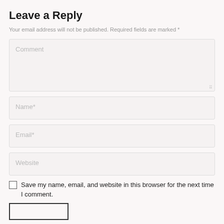Leave a Reply
Your email address will not be published. Required fields are marked *
[Figure (screenshot): Comment text area input field with placeholder text 'Comment']
[Figure (screenshot): Name input field with placeholder text 'Name*']
[Figure (screenshot): Email input field with placeholder text 'Email*']
[Figure (screenshot): Website input field with placeholder text 'Website']
Save my name, email, and website in this browser for the next time I comment.
[Figure (screenshot): Submit button (empty/unlabeled) outlined in black]